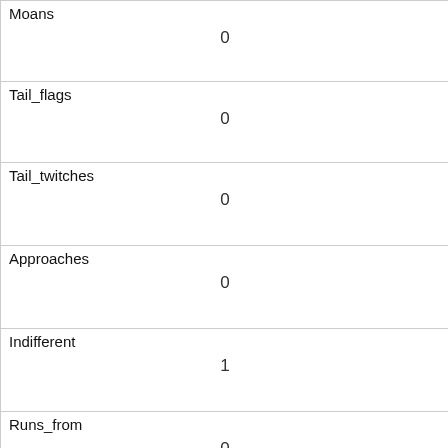| Field | Value |
| --- | --- |
| Moans | 0 |
| Tail_flags | 0 |
| Tail_twitches | 0 |
| Approaches | 0 |
| Indifferent | 1 |
| Runs_from | 0 |
| Other_Interactions |  |
| Latlong | POINT (-73.9731113265165 40.7786640676355) |
| Zip_Codes |  |
| Community_Districts | 19 |
| Borough_Boundaries |  |